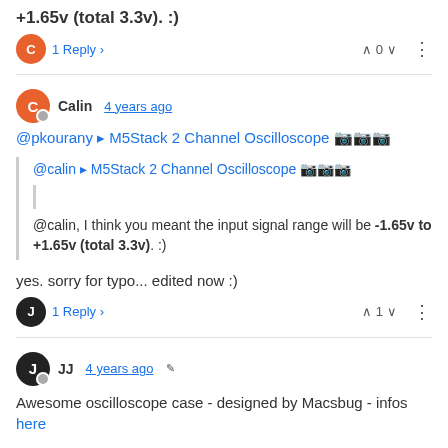+1.65v (total 3.3v). :)
1 Reply
Calin 4 years ago
@pkourany ▸ M5Stack 2 Channel Oscilloscope 🔬🔭📡
@calin ▸ M5Stack 2 Channel Oscilloscope 🔬🔭📡
@calin, I think you meant the input signal range will be -1.65v to +1.65v (total 3.3v). :)
yes. sorry for typo... edited now :)
1 Reply
JJ 4 years ago
Awesome oscilloscope case - designed by Macsbug - infos here